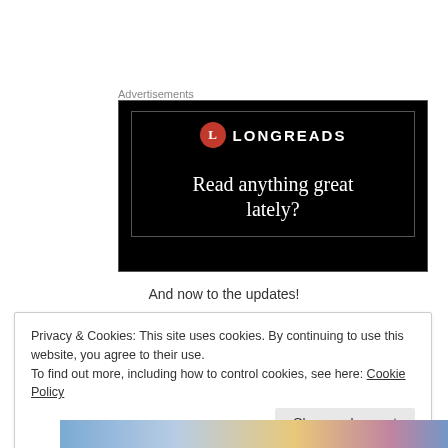Advertisements
[Figure (illustration): Longreads advertisement banner on black background with red circle 'L' logo and text 'Read anything great lately?']
And now to the updates!
Privacy & Cookies: This site uses cookies. By continuing to use this website, you agree to their use.
To find out more, including how to control cookies, see here: Cookie Policy
Close and accept
[Figure (illustration): Partial bottom strip showing colorful illustrated characters]